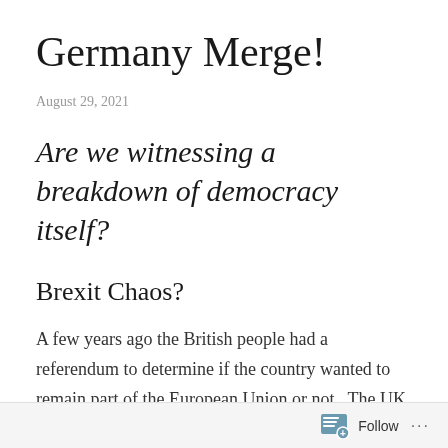Germany Merge!
August 29, 2021
Are we witnessing a breakdown of democracy itself?
Brexit Chaos?
A few years ago the British people had a referendum to determine if the country wanted to remain part of the European Union or not.  The UK voted to withdraw and become an independent sovereign nation once more.
Follow